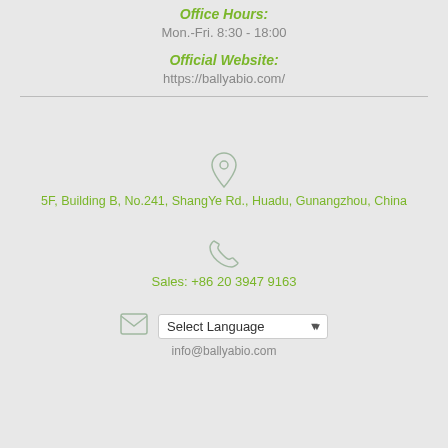Office Hours:
Mon.-Fri. 8:30 - 18:00
Official Website:
https://ballyabio.com/
[Figure (illustration): Location pin icon (map marker SVG)]
5F, Building B, No.241, ShangYe Rd., Huadu, Gunangzhou, China
[Figure (illustration): Phone/telephone handset icon SVG]
Sales: +86 20 3947 9163
[Figure (illustration): Envelope/email icon SVG]
Select Language (dropdown)
info@ballyabio.com